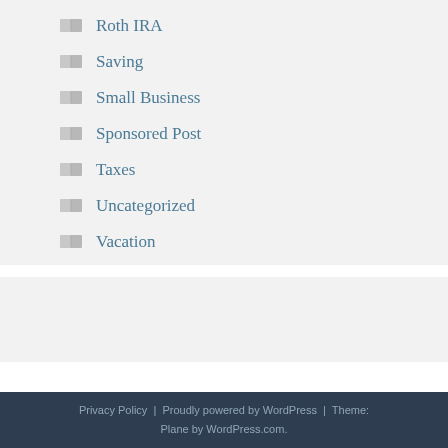Roth IRA
Saving
Small Business
Sponsored Post
Taxes
Uncategorized
Vacation
Privacy Policy | Proudly powered by WordPress | Theme: Plane by WordPress.com.